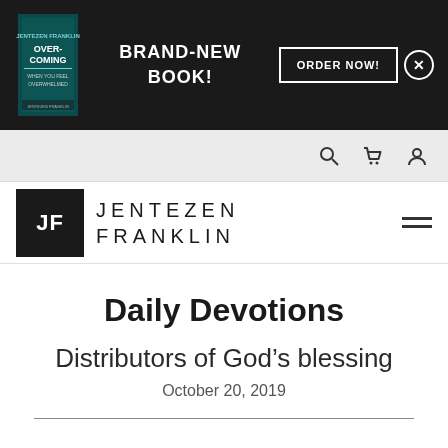[Figure (screenshot): Website banner with book cover for 'Overcoming When You Feel Overwhelmed', brand-new book promotion with ORDER NOW button on black background]
Navigation bar with search, cart, and user icons
[Figure (logo): Jentezen Franklin logo: black box with JF initials and text JENTEZEN FRANKLIN]
Daily Devotions
Distributors of God’s blessing
October 20, 2019